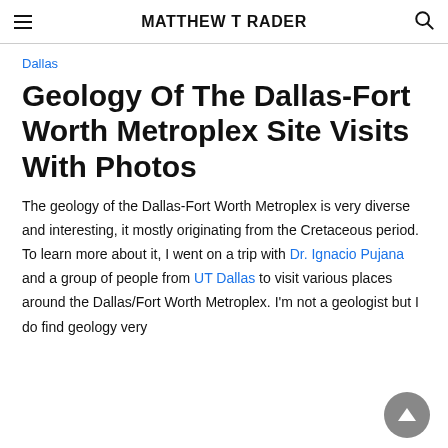MATTHEW T RADER
Dallas
Geology Of The Dallas-Fort Worth Metroplex Site Visits With Photos
The geology of the Dallas-Fort Worth Metroplex is very diverse and interesting, it mostly originating from the Cretaceous period. To learn more about it, I went on a trip with Dr. Ignacio Pujana and a group of people from UT Dallas to visit various places around the Dallas/Fort Worth Metroplex. I'm not a geologist but I do find geology very